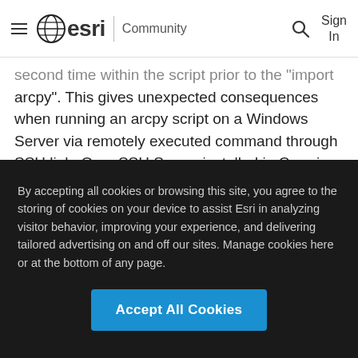esri Community
second time within the script prior to the "import arcpy". This gives unexpected consequences when running an arcpy script on a Windows Server via remotely executed command through SSH link, OpenSSH Server installed in Cygwin environment. The script terminates immediately at the "import arcpy" call. Running the arcpy script while being logged in the arcpy script continues the execution
By accepting all cookies or browsing this site, you agree to the storing of cookies on your device to assist Esri in analyzing visitor behavior, improving your experience, and delivering tailored advertising on and off our sites. Manage cookies here or at the bottom of any page.
Accept All Cookies